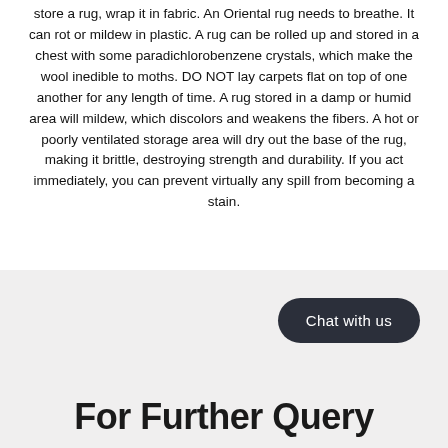store a rug, wrap it in fabric. An Oriental rug needs to breathe. It can rot or mildew in plastic. A rug can be rolled up and stored in a chest with some paradichlorobenzene crystals, which make the wool inedible to moths. DO NOT lay carpets flat on top of one another for any length of time. A rug stored in a damp or humid area will mildew, which discolors and weakens the fibers. A hot or poorly ventilated storage area will dry out the base of the rug, making it brittle, destroying strength and durability. If you act immediately, you can prevent virtually any spill from becoming a stain.
[Figure (other): Dark rounded pill-shaped button labeled 'Chat with us' on a light grey background]
For Further Query